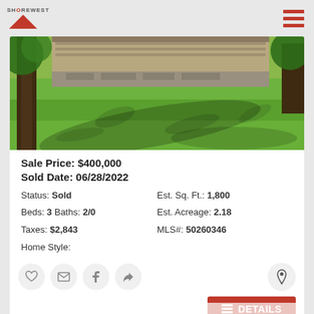Shorewest
[Figure (photo): Exterior photo of property showing green lawn with tree shadows and deck/structure visible in background]
Sale Price: $400,000
Sold Date: 06/28/2022
Status: Sold
Est. Sq. Ft.: 1,800
Beds: 3 Baths: 2/0
Est. Acreage: 2.18
Taxes: $2,843
MLS#: 50260346
Home Style: